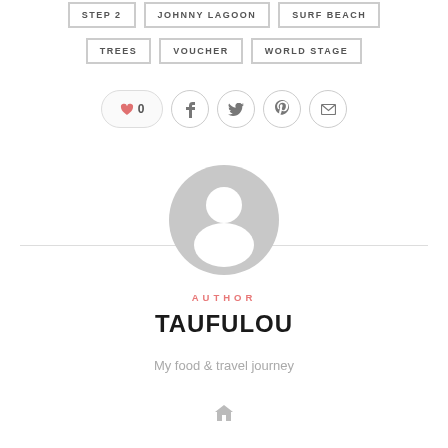STEP 2 | JOHNNY LAGOON | SURF BEACH
TREES | VOUCHER | WORLD STAGE
[Figure (other): Social sharing buttons row: heart/like button showing 0, Facebook icon, Twitter icon, Pinterest icon, Email icon — all circular outlined buttons]
[Figure (other): Default user avatar placeholder — grey circle with white silhouette person icon, flanked by horizontal divider lines]
AUTHOR
TAUFULOU
My food & travel journey
[Figure (other): Home/house icon in grey]